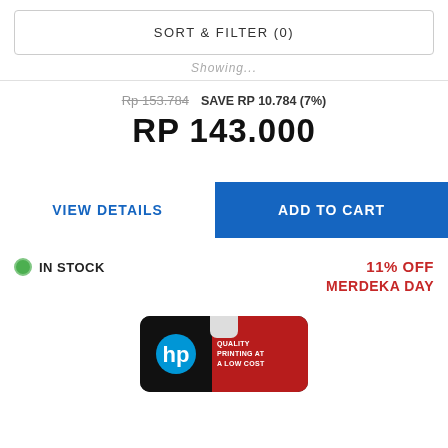SORT & FILTER (0)
Showing...
Rp 153.784  SAVE RP 10.784 (7%)
RP 143.000
VIEW DETAILS
ADD TO CART
IN STOCK
11% OFF
MERDEKA DAY
[Figure (photo): HP ink cartridge product card with HP logo and text 'QUALITY PRINTING AT A LOW COST' on red background]